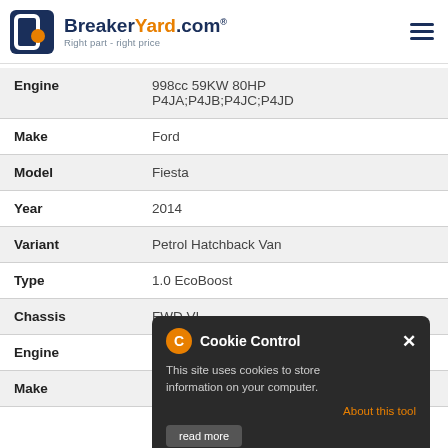BreakerYard.com - Right part - right price
| Field | Value |
| --- | --- |
| Engine | 998cc 59KW 80HP P4JA;P4JB;P4JC;P4JD |
| Make | Ford |
| Model | Fiesta |
| Year | 2014 |
| Variant | Petrol Hatchback Van |
| Type | 1.0 EcoBoost |
| Chassis | FWD VI -- |
| Engine | 998cc 103KW 140HP YYJA;YYJB |
| Make | Ford |
[Figure (screenshot): Cookie Control popup overlay with orange gear icon, title 'Cookie Control', close X button, body text 'This site uses cookies to store information on your computer.', orange 'About this tool' link, and dark 'read more' button]